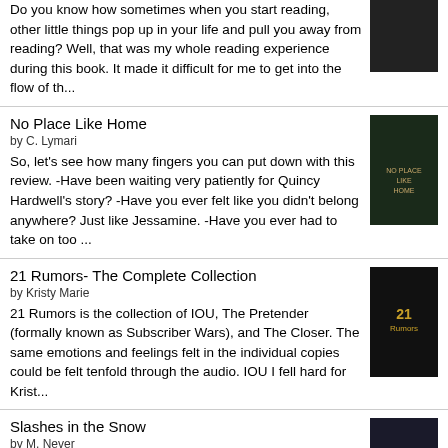Do you know how sometimes when you start reading, other little things pop up in your life and pull you away from reading? Well, that was my whole reading experience during this book. It made it difficult for me to get into the flow of th...
No Place Like Home
by C. Lymari
So, let's see how many fingers you can put down with this review. -Have been waiting very patiently for Quincy Hardwell's story? -Have you ever felt like you didn't belong anywhere? Just like Jessamine. -Have you ever had to take on too ...
21 Rumors- The Complete Collection
by Kristy Marie
21 Rumors is the collection of IOU, The Pretender (formally known as Subscriber Wars), and The Closer. The same emotions and feelings felt in the individual copies could be felt tenfold through the audio. IOU I fell hard for Krist...
Slashes in the Snow
by M. Never
4 'Slashes in the Snow' Stars I was in a book funk and asked a